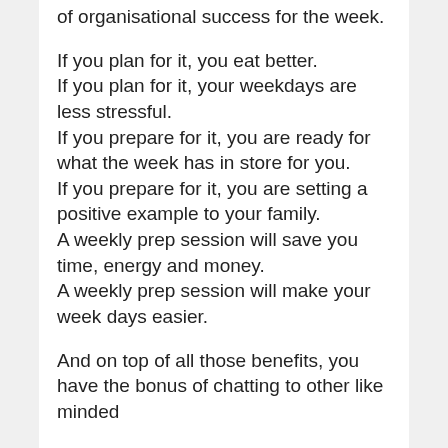of organisational success for the week.
If you plan for it, you eat better.
If you plan for it, your weekdays are less stressful.
If you prepare for it, you are ready for what the week has in store for you.
If you prepare for it, you are setting a positive example to your family.
A weekly prep session will save you time, energy and money.
A weekly prep session will make your week days easier.
And on top of all those benefits, you have the bonus of chatting to other like minded